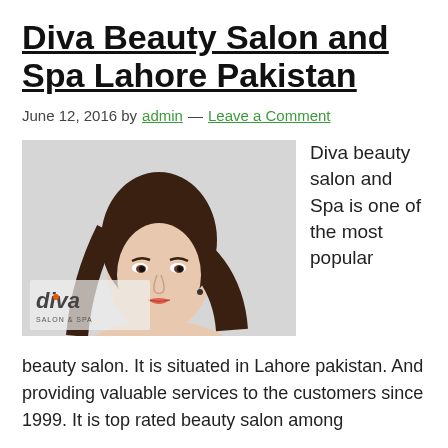Diva Beauty Salon and Spa Lahore Pakistan
June 12, 2016 by admin — Leave a Comment
[Figure (photo): Diva Salon & Spa promotional image showing a woman with styled hair and makeup next to the Diva salon logo]
Diva beauty salon and Spa is one of the most popular beauty salon. It is situated in Lahore pakistan. And providing valuable services to the customers since 1999. It is top rated beauty salon among